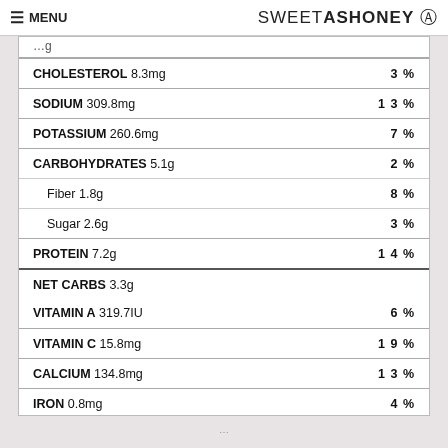MENU  SWEETASHONEY
| Nutrient | Amount | % Daily Value |
| --- | --- | --- |
| CHOLESTEROL | 8.3mg | 3% |
| SODIUM | 309.8mg | 13% |
| POTASSIUM | 260.6mg | 7% |
| CARBOHYDRATES | 5.1g | 2% |
| Fiber | 1.8g | 8% |
| Sugar | 2.6g | 3% |
| PROTEIN | 7.2g | 14% |
| NET CARBS | 3.3g |  |
| VITAMIN A | 319.7IU | 6% |
| VITAMIN C | 15.8mg | 19% |
| CALCIUM | 134.8mg | 13% |
| IRON | 0.8mg | 4% |
* PERCENT DAILY VALUES ARE BASED ON A 2000 CALORIE DIET.